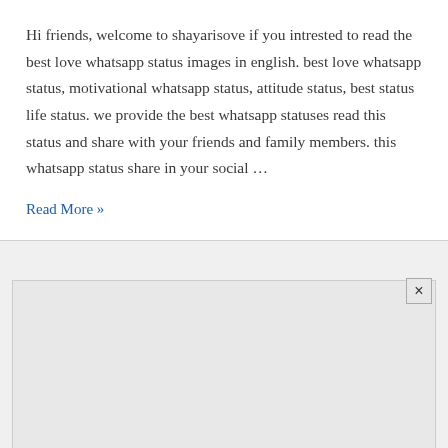Hi friends, welcome to shayarisove if you intrested to read the best love whatsapp status images in english. best love whatsapp status, motivational whatsapp status, attitude status, best status life status. we provide the best whatsapp statuses read this status and share with your friends and family members. this whatsapp status share in your social …
Read More »
[Figure (other): Advertisement box with grey background and a close (×) button in the bottom-right corner]